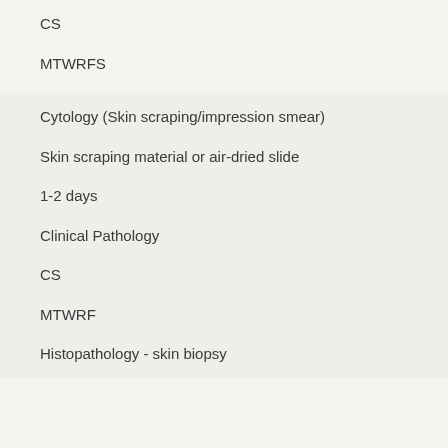CS
MTWRFS
Cytology (Skin scraping/impression smear)
Skin scraping material or air-dried slide
1-2 days
Clinical Pathology
CS
MTWRF
Histopathology - skin biopsy